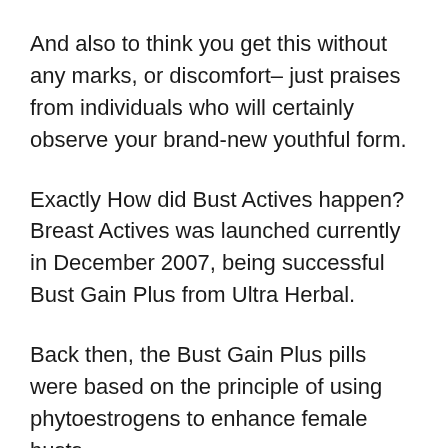And also to think you get this without any marks, or discomfort– just praises from individuals who will certainly observe your brand-new youthful form.
Exactly How did Bust Actives happen? Breast Actives was launched currently in December 2007, being successful Bust Gain Plus from Ultra Herbal.
Back then, the Bust Gain Plus pills were based on the principle of using phytoestrogens to enhance female busts.
It was found, with scientific study, that promoting the estrogen receptors in the busts with phytoestrogens [1], might